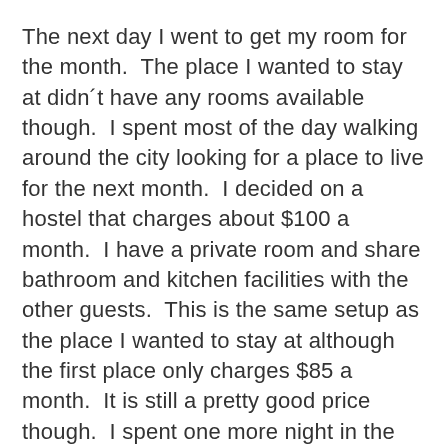The next day I went to get my room for the month.  The place I wanted to stay at didn´t have any rooms available though.  I spent most of the day walking around the city looking for a place to live for the next month.  I decided on a hostel that charges about $100 a month.  I have a private room and share bathroom and kitchen facilities with the other guests.  This is the same setup as the place I wanted to stay at although the first place only charges $85 a month.  It is still a pretty good price though.  I spent one more night in the hotel and moved into the hostel this morning.